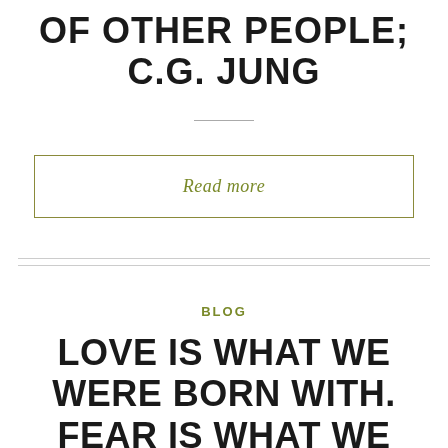OF OTHER PEOPLE; C.G. JUNG
Read more
BLOG
LOVE IS WHAT WE WERE BORN WITH. FEAR IS WHAT WE